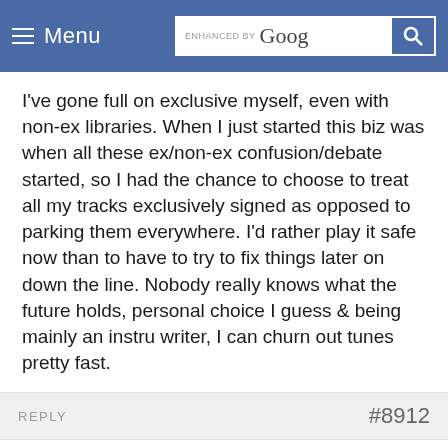Menu | ENHANCED BY Google [search]
I've gone full on exclusive myself, even with non-ex libraries. When I just started this biz was when all these ex/non-ex confusion/debate started, so I had the chance to choose to treat all my tracks exclusively signed as opposed to parking them everywhere. I'd rather play it safe now than to have to try to fix things later on down the line. Nobody really knows what the future holds, personal choice I guess & being mainly an instru writer, I can churn out tunes pretty fast.
REPLY #8912
Mark Lewis
Guest